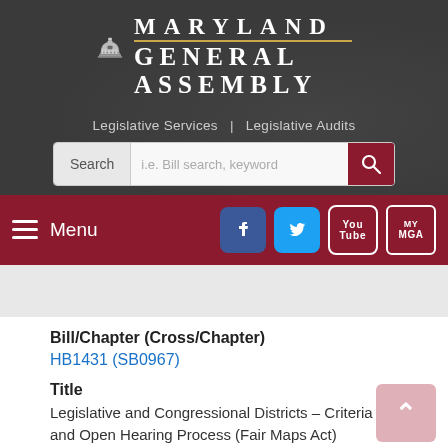[Figure (screenshot): Maryland General Assembly website header with capitol dome logo, MARYLAND GENERAL ASSEMBLY text, Legislative Services | Legislative Audits links, search bar, menu bar with hamburger menu and social media icons (Facebook, Twitter, YouTube, MyMGA)]
Bill/Chapter (Cross/Chapter)
HB1431 (SB0967)
Title
Legislative and Congressional Districts – Criteria and Open Hearing Process (Fair Maps Act)
Sponsor
Delegate Wilkins